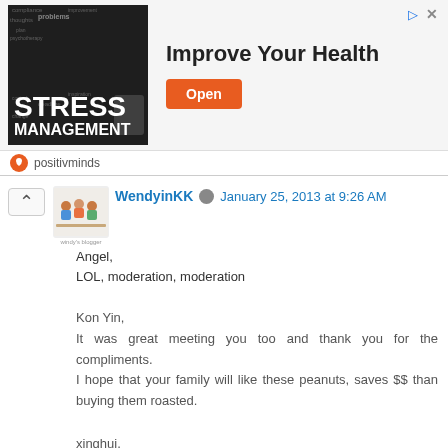[Figure (screenshot): Ad banner for 'Improve Your Health' with stress management image on left, headline in center, and orange 'Open' button on right]
positivminds
WendyinKK  January 25, 2013 at 9:26 AM
Angel,
LOL, moderation, moderation
Kon Yin,
It was great meeting you too and thank you for the compliments.
I hope that your family will like these peanuts, saves $$ than buying them roasted.
xinghui,
U're welcomed